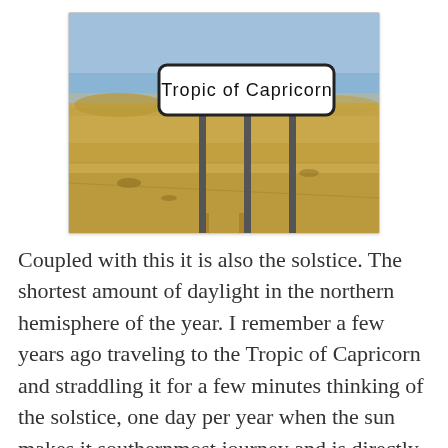[Figure (photo): A photograph of a road sign in a desert landscape reading 'Tropic of Capricorn'. The sign has a rectangular shape with rounded corners, black border and black text on white background. Three metal poles support the sign. The background shows sandy, arid terrain under a blue sky.]
Coupled with this it is also the solstice. The shortest amount of daylight in the northern hemisphere of the year. I remember a few years ago traveling to the Tropic of Capricorn and straddling it for a few minutes thinking of the solstice, one day per year when the sun makes it southernmost journey and is directly overhead. I wish I were there today--enjoying warmth and daylight. The local weather station is reporting 9 hours and 24 minutes of expected sunlight today. All,